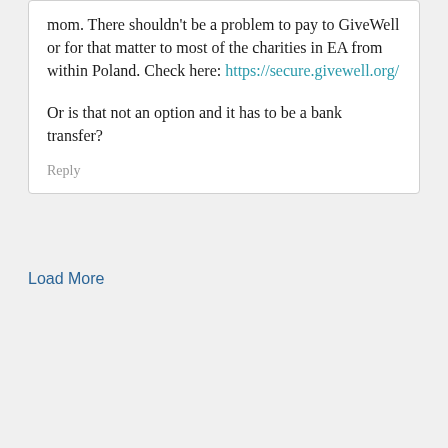mom. There shouldn't be a problem to pay to GiveWell or for that matter to most of the charities in EA from within Poland. Check here: https://secure.givewell.org/
Or is that not an option and it has to be a bank transfer?
Reply
Load More